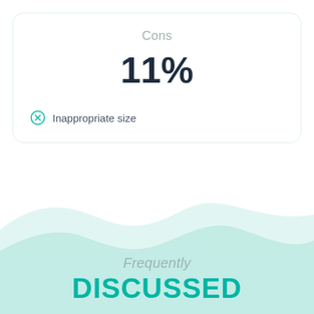Cons
11%
Inappropriate size
[Figure (illustration): Decorative wave/hill shape in light mint green color at bottom of page]
Frequently
DISCUSSED